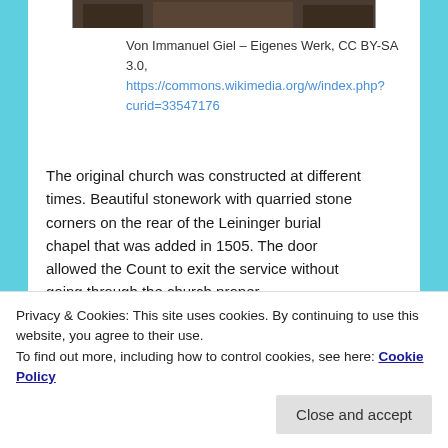[Figure (photo): Top portion of a church building photograph, cropped — dark stone facade visible]
Von Immanuel Giel – Eigenes Werk, CC BY-SA 3.0,
https://commons.wikimedia.org/w/index.php?curid=33547176
The original church was constructed at different times. Beautiful stonework with quarried stone corners on the rear of the Leininger burial chapel that was added in 1505. The door allowed the Count to exit the service without going through the church proper.
[Figure (photo): Photograph of a church steeple/spire against a clear blue sky]
Privacy & Cookies: This site uses cookies. By continuing to use this website, you agree to their use.
To find out more, including how to control cookies, see here: Cookie Policy